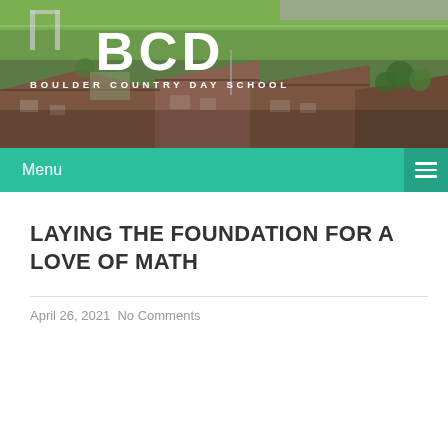[Figure (photo): Aerial view of Boulder Country Day School campus with green sports fields, school buildings with brown roofs, and trees. BCD logo and school name overlaid in white.]
Menu
LAYING THE FOUNDATION FOR A LOVE OF MATH
April 26, 2021  No Comments